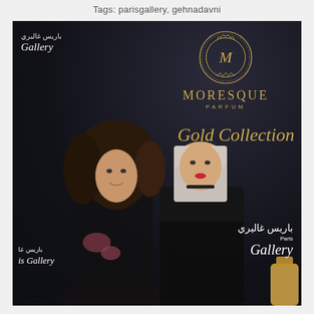Tags: parisgallery, gehnadavni
[Figure (photo): Two women posing in front of a dark Moresque Parfum / Paris Gallery branded backdrop. The backdrop displays the Moresque gold circular logo, 'MORESQUE PARFUM' and 'Gold Collection' in gold script, and 'Paris Gallery' in Arabic and Latin script. Left woman has curly blonde-tipped hair wearing black with floral print; right woman has straight hair with red lips wearing black lace dress. A perfume bottle is partially visible at bottom right.]